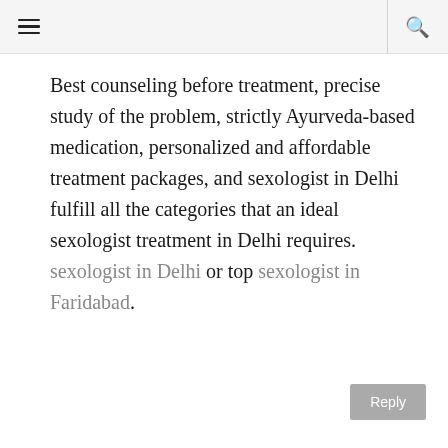≡  🔍
Best counseling before treatment, precise study of the problem, strictly Ayurveda-based medication, personalized and affordable treatment packages, and sexologist in Delhi fulfill all the categories that an ideal sexologist treatment in Delhi requires. sexologist in Delhi or top sexologist in Faridabad.